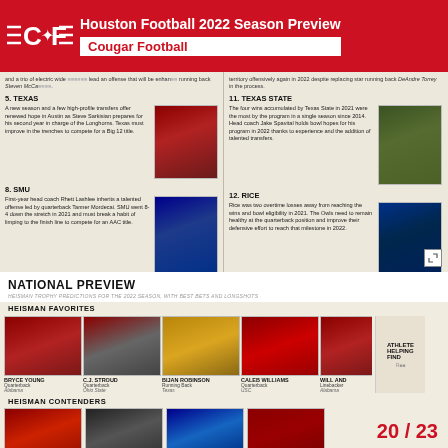Houston Football 2022 Season Preview — Cougar Football
[Figure (photo): Top photo spread showing two college football player profiles: #5 Texas and #8 SMU on left, #11 Texas State and #12 Rice on right]
NATIONAL PREVIEW
HEISMAN TROPHY PREDICTIONS FOR THE 2022 SEASON, WITH BEST BETS AND LONGSHOTS
HEISMAN FAVORITES
[Figure (photo): Bryce Young - Quarterback - Alabama]
[Figure (photo): C.J. Stroud - Quarterback - Ohio State]
[Figure (photo): Bijan Robinson - Running Back - Texas]
[Figure (photo): Caleb Williams - Quarterback - USC]
[Figure (photo): Will Anderson - Linebacker - Alabama (partially visible)]
BRYCE YOUNG
Quarterback
Alabama
C.J. STROUD
Quarterback
Ohio State
BIJAN ROBINSON
Running Back
Texas
CALEB WILLIAMS
Quarterback
USC
WILL ANDERSON
Linebacker
Alabama
HEISMAN CONTENDERS
[Figure (photo): Heisman contenders row of player photos, partially visible]
20 / 23